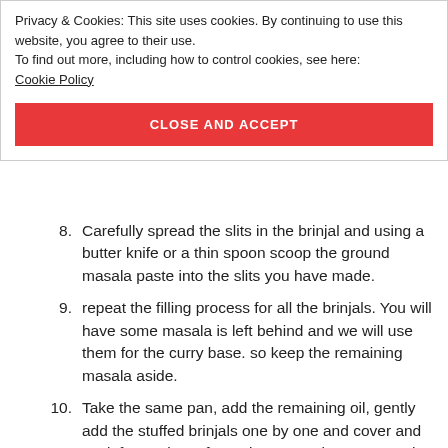Privacy & Cookies: This site uses cookies. By continuing to use this website, you agree to their use.
To find out more, including how to control cookies, see here: Cookie Policy
CLOSE AND ACCEPT
8. Carefully spread the slits in the brinjal and using a butter knife or a thin spoon scoop the ground masala paste into the slits you have made.
9. repeat the filling process for all the brinjals. You will have some masala is left behind and we will use them for the curry base. so keep the remaining masala aside.
10. Take the same pan, add the remaining oil, gently add the stuffed brinjals one by one and cover and cook for 5 mins. After 5 times turn them over to the other side and cover and cook for 5 more minutes